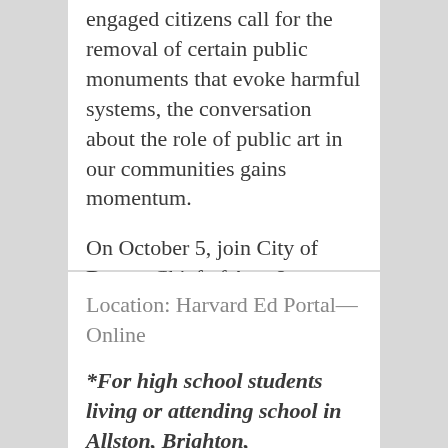engaged citizens call for the removal of certain public monuments that evoke harmful systems, the conversation about the role of public art in our communities gains momentum.
On October 5, join City of Boston Chief of Arts & Culture Kara Elliott-Ortega…
Mapping Your Heart: A Zine Making Workshop
Location: Harvard Ed Portal—Online
*For high school students living or attending school in Allston, Brighton,